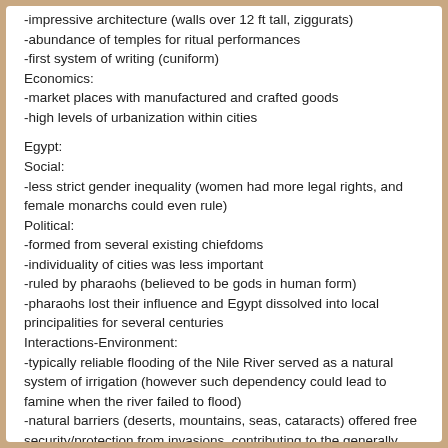-impressive architecture (walls over 12 ft tall, ziggurats)
-abundance of temples for ritual performances
-first system of writing (cuniform)
Economics:
-market places with manufactured and crafted goods
-high levels of urbanization within cities
Egypt:
Social:
-less strict gender inequality (women had more legal rights, and female monarchs could even rule)
Political:
-formed from several existing chiefdoms
-individuality of cities was less important
-ruled by pharaohs (believed to be gods in human form)
-pharaohs lost their influence and Egypt dissolved into local principalities for several centuries
Interactions-Environment:
-typically reliable flooding of the Nile River served as a natural system of irrigation (however such dependency could lead to famine when the river failed to flood)
-natural barriers (deserts, mountains, seas, cataracts) offered free security/protection from invasions, contributing to the generally optimistic mindset of Egyptians
-short description of first statement about the...